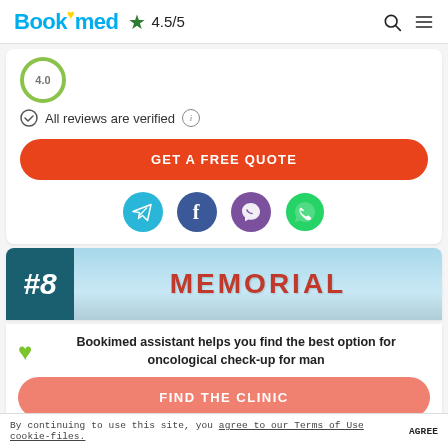Bookimed ★ 4.5/5
[Figure (screenshot): Partially visible circular rating badge with green border]
All reviews are verified ⓘ
GET A FREE QUOTE
[Figure (infographic): Four social media icons: Telegram, Facebook, Viber, WhatsApp]
[Figure (photo): #8 Memorial hospital banner image with sky blue background and red MEMORIAL text]
Bookimed assistant helps you find the best option for oncological check-up for man
FIND THE CLINIC
By continuing to use this site, you agree to our Terms of Use cookie-files. AGREE